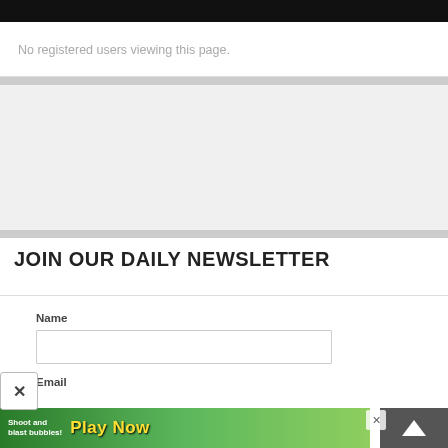No registered users viewing this page.
JOIN OUR DAILY NEWSLETTER
Name
Email
[Figure (screenshot): Advertisement banner: 'Shoot and blast bubbles! Play Now - Bubble Shooter Animal World' game ad with colorful cartoon graphics on green background]